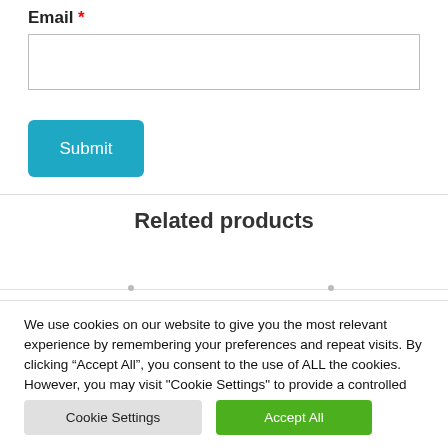Email *
(email input field)
Submit
Related products
We use cookies on our website to give you the most relevant experience by remembering your preferences and repeat visits. By clicking “Accept All”, you consent to the use of ALL the cookies. However, you may visit "Cookie Settings" to provide a controlled consent.
Cookie Settings
Accept All